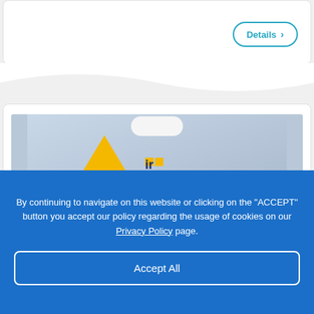[Figure (other): Top white card section with a Details button (rounded rectangle, teal border) on the right side]
[Figure (photo): Product packaging image showing the AirVolution brand logo with a yellow triangle/arrow icon and dark blue text spelling VOLUTION on a light blue background, with a white hang-tab at top]
By continuing to navigate on this website or clicking on the "ACCEPT" button you accept our policy regarding the usage of cookies on our Privacy Policy page.
Accept All